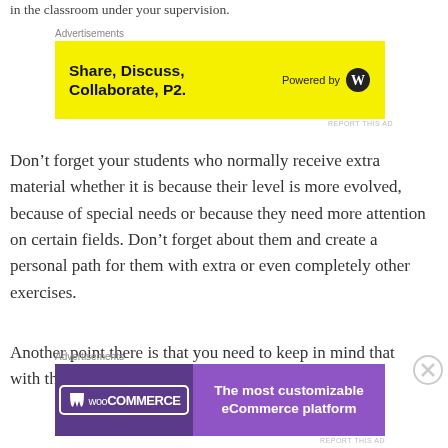in the classroom under your supervision.
[Figure (other): Yellow advertisement banner: Share, Discuss, Collaborate, P2. Powered by WordPress logo]
Don’t forget your students who normally receive extra material whether it is because their level is more evolved, because of special needs or because they need more attention on certain fields. Don’t forget about them and create a personal path for them with extra or even completely other exercises.
Another point there is that you need to keep in mind that with the assignment that you give is the options
[Figure (other): WooCommerce purple advertisement banner: The most customizable eCommerce platform]